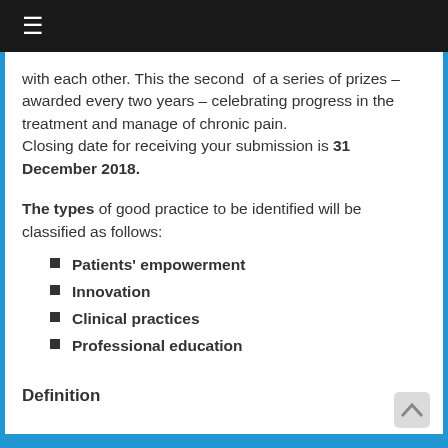≡
with each other. This the second of a series of prizes –awarded every two years – celebrating progress in the treatment and manage of chronic pain.
Closing date for receiving your submission is 31 December 2018.
The types of good practice to be identified will be classified as follows:
Patients' empowerment
Innovation
Clinical practices
Professional education
Definition